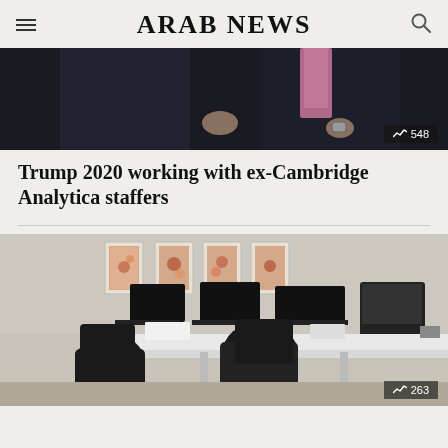ARAB NEWS
[Figure (photo): Two people in suits seated, one wearing a pink/purple tie, partial view of their laps and hands]
Trump 2020 working with ex-Cambridge Analytica staffers
[Figure (photo): Office interior with computer monitors on white desks, artwork on walls, floor lamp, natural light from window]